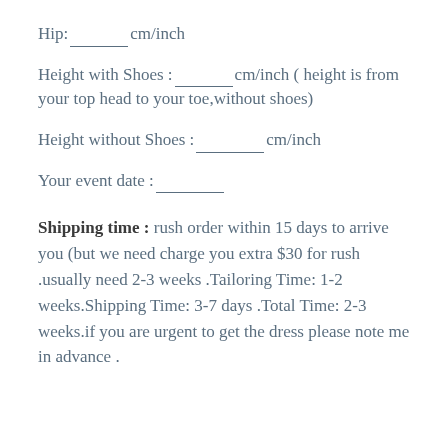Hip:________cm/inch
Height with Shoes :________cm/inch ( height is from your top head to your toe,without shoes)
Height without Shoes :________cm/inch
Your event date :________
Shipping time : rush order within 15 days to arrive you (but we need charge you extra $30 for rush .usually need 2-3 weeks .Tailoring Time: 1-2 weeks.Shipping Time: 3-7 days .Total Time: 2-3 weeks.if you are urgent to get the dress please note me in advance .